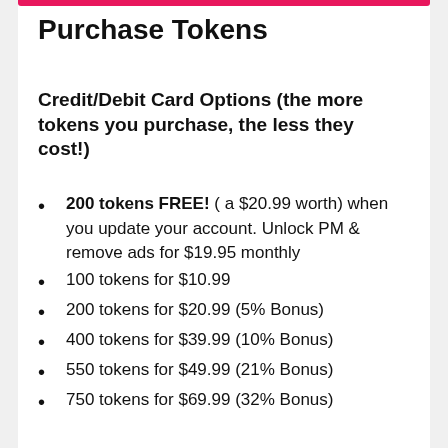Purchase Tokens
Credit/Debit Card Options (the more tokens you purchase, the less they cost!)
200 tokens FREE! ( a $20.99 worth) when you update your account. Unlock PM & remove ads for $19.95 monthly
100 tokens for $10.99
200 tokens for $20.99 (5% Bonus)
400 tokens for $39.99 (10% Bonus)
550 tokens for $49.99 (21% Bonus)
750 tokens for $69.99 (32% Bonus)